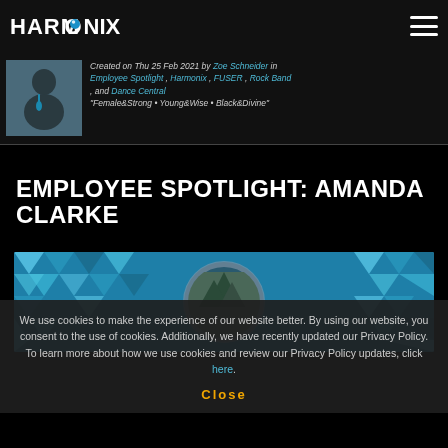HARMONIX
Created on Thu 25 Feb 2021 by Zoe Schneider in Employee Spotlight , Harmonix , FUSER , Rock Band , and Dance Central "Female&Strong • Young&Wise • Black&Divine"
EMPLOYEE SPOTLIGHT: AMANDA CLARKE
[Figure (photo): Decorative geometric blue/teal triangle pattern banner with circular portrait placeholder in center]
We use cookies to make the experience of our website better. By using our website, you consent to the use of cookies. Additionally, we have recently updated our Privacy Policy. To learn more about how we use cookies and review our Privacy Policy updates, click here.
Close